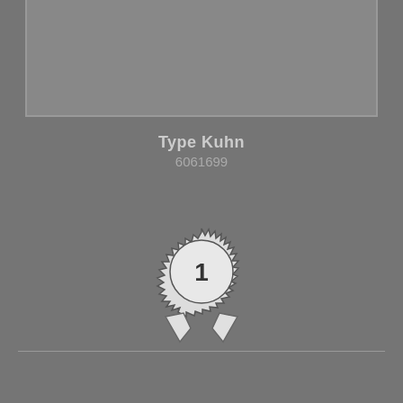[Figure (screenshot): Top area: rounded rectangle box on grey background]
Type Kuhn
6061699
[Figure (illustration): Number 1 badge/medal illustration with spiky border and ribbon tails]
NÚMERO UNO DEL MUNDO
[Figure (illustration): Search/magnify icon with radiating lines (search highlight icon)]
[Figure (illustration): Settings gear icon button (dark red circle)]
[Figure (illustration): Chat bubble icon button (pink/red circle)]